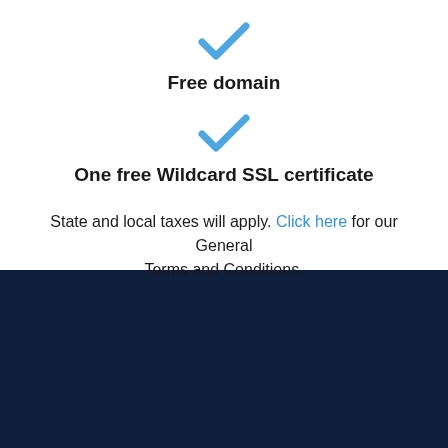[Figure (illustration): Blue checkmark icon]
Free domain
[Figure (illustration): Blue checkmark icon]
One free Wildcard SSL certificate
State and local taxes will apply. Click here for our General Terms and Conditions.